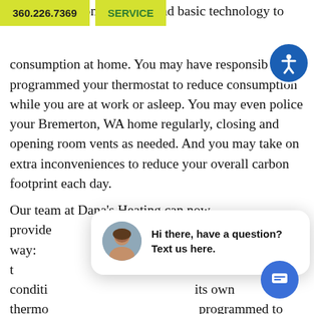360.226.7369 | SERVICE
y have relied on diligence and basic technology to y consumption at home. You may have responsibly programmed your thermostat to reduce consumption while you are at work or asleep. You may even police your Bremerton, WA home regularly, closing and opening room vents as needed. And you may take on extra inconveniences to reduce your overall carbon footprint each day.
Our team at Dana's Heating can now provide cl an easier way: are designed t and air conditi its own thermo programmed to automatically open and shut zone dampers as the system receives temperature adjustments.
[Figure (other): Chat widget with avatar photo of a woman and text: Hi there, have a question? Text us here.]